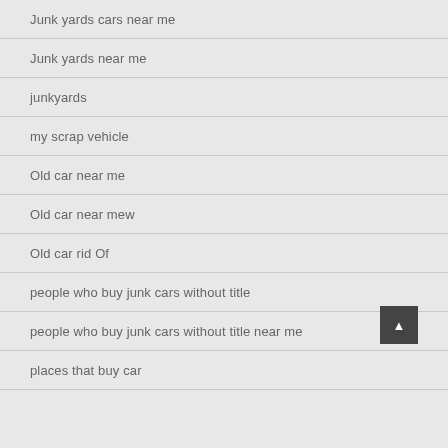Junk yards cars near me
Junk yards near me
junkyards
my scrap vehicle
Old car near me
Old car near mew
Old car rid Of
people who buy junk cars without title
people who buy junk cars without title near me
places that buy car